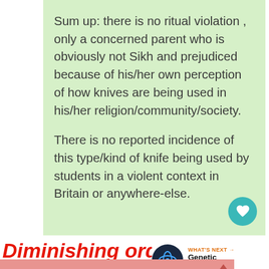Sum up: there is no ritual violation , only a concerned parent who is obviously not Sikh and prejudiced because of his/her own perception of how knives are being used in his/her religion/community/society.

There is no reported incidence of this type/kind of knife being used by students in a violent context in Britain or anywhere-else.
Diminishing order.
[Figure (infographic): WHAT'S NEXT arrow label with DNA/genetics icon circle and text 'Genetic Engineering ...']
No because...